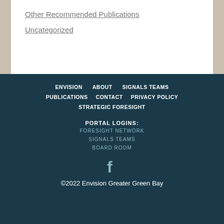Other Recommended Publications
Uncategorized
ENVISION  ABOUT  SIGNALS TEAMS  PUBLICATIONS  CONTACT  PRIVACY POLICY  STRATEGIC FORESIGHT  PORTAL LOGINS:  FORESIGHT NETWORK  SIGNALS TEAMS  BOARD ROOM  ©2022 Envision Greater Green Bay